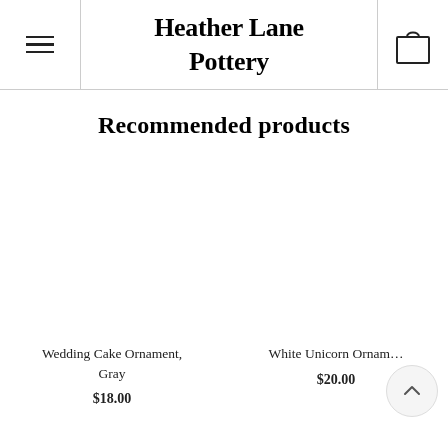Heather Lane Pottery
Recommended products
Wedding Cake Ornament, Gray
$18.00
White Unicorn Ornam...
$20.00